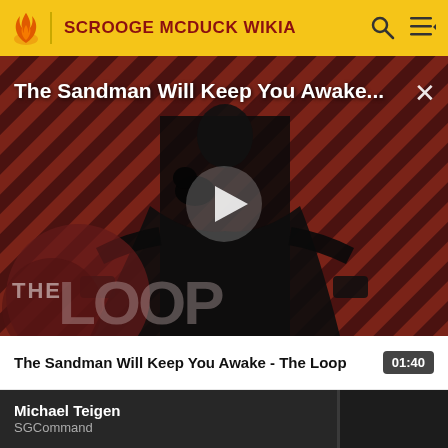SCROOGE MCDUCK WIKIA
[Figure (screenshot): Video player showing 'The Sandman Will Keep You Awake - The Loop' with a figure in black against a red diagonal striped background, THE LOOP watermark visible, play button in center]
The Sandman Will Keep You Awake - The Loop  01:40
[Figure (screenshot): Video thumbnail with dark background showing text: Michael Teigen / SGCommand]